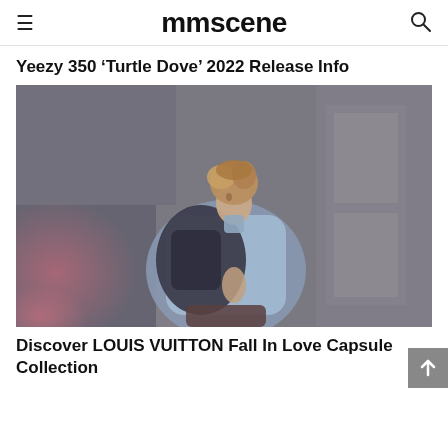mmscene
Yeezy 350 ‘Turtle Dove’ 2022 Release Info
[Figure (photo): Young man with curly hair wearing a light blue jacket and carrying a dark backpack, photographed against a weathered wall background with pink and grey tones]
Discover LOUIS VUITTON Fall In Love Capsule Collection